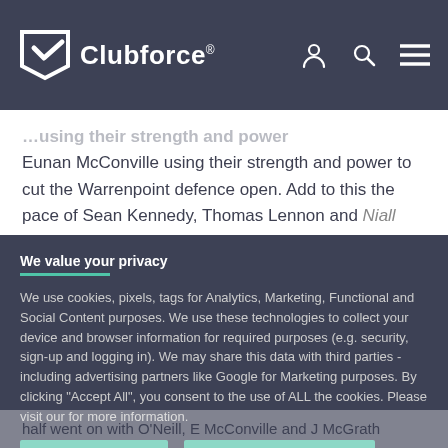Clubforce®
...using their strength and power to cut the Warrenpoint defence open. Add to this the pace of Sean Kennedy, Thomas Lennon and Niall Higgins at the back and Ballyvarley dominated most areas of the field.
We value your privacy
We use cookies, pixels, tags for Analytics, Marketing, Functional and Social Content purposes. We use these technologies to collect your device and browser information for required purposes (e.g. security, sign-up and logging in). We may share this data with third parties - including advertising partners like Google for Marketing purposes. By clicking "Accept All", you consent to the use of ALL the cookies. Please visit our for more information.
ACCEPT ALL   COOKIE SETTINGS
half went on with O'Neill, E McConville and J McGrath